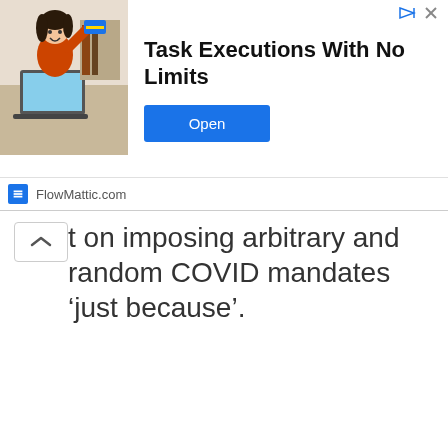[Figure (screenshot): Advertisement banner for FlowMattic.com showing a woman at a laptop, with text 'Task Executions With No Limits' and an 'Open' button]
t on imposing arbitrary and random COVID mandates ‘just because’.